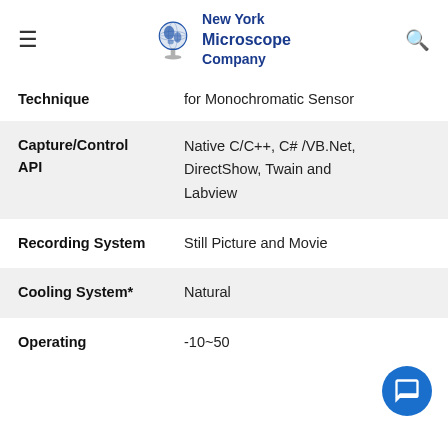New York Microscope Company
| Property | Value |
| --- | --- |
| Technique | for Monochromatic Sensor |
| Capture/Control API | Native C/C++, C# /VB.Net, DirectShow, Twain and Labview |
| Recording System | Still Picture and Movie |
| Cooling System* | Natural |
| Operating Temperature | -10~50 |